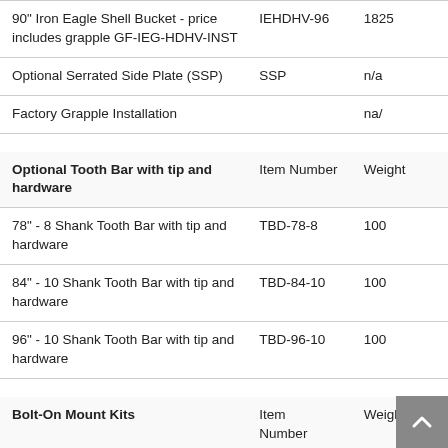|  | Item Number | Weight |
| --- | --- | --- |
| 90" Iron Eagle Shell Bucket - price includes grapple GF-IEG-HDHV-INST | IEHDHV-96 | 1825 |
| Optional Serrated Side Plate (SSP) | SSP | n/a |
| Factory Grapple Installation |  | na/ |
| Optional Tooth Bar with tip and hardware | Item Number | Weight |
| 78" - 8 Shank Tooth Bar with tip and hardware | TBD-78-8 | 100 |
| 84" - 10 Shank Tooth Bar with tip and hardware | TBD-84-10 | 100 |
| 96" - 10 Shank Tooth Bar with tip and hardware | TBD-96-10 | 100 |
| Bolt-On Mount Kits | Item Number | Weight |